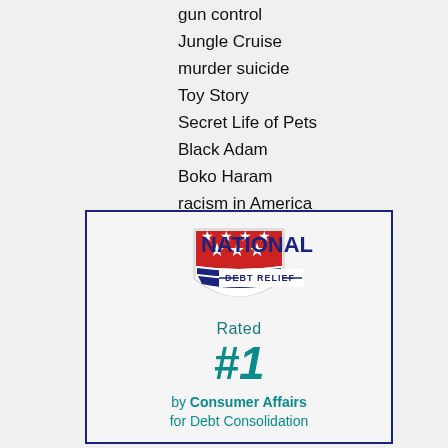gun control
Jungle Cruise
murder suicide
Toy Story
Secret Life of Pets
Black Adam
Boko Haram
racism in America
US Senate
[Figure (logo): National Debt Relief logo with shield icon (red top with stars, blue stripes on bottom) and text NATIONAL DEBT RELIEF. Below: Rated #1 by Consumer Affairs for Debt Consolidation]